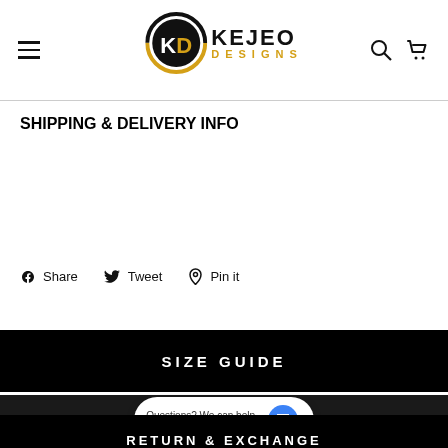KEJEO DESIGNS
SHIPPING & DELIVERY INFO
Share  Tweet  Pin it
SIZE GUIDE
Questions? We can help. Chat with us now.
RETURN & EXCHANGE